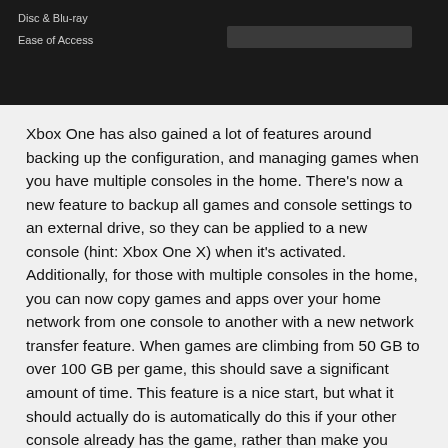[Figure (screenshot): Dark-themed Xbox One settings menu screenshot showing menu items 'Disc & Blu-ray' and 'Ease of Access' on the left side, with a gray selection bar on the right.]
Xbox One has also gained a lot of features around backing up the configuration, and managing games when you have multiple consoles in the home. There's now a new feature to backup all games and console settings to an external drive, so they can be applied to a new console (hint: Xbox One X) when it's activated. Additionally, for those with multiple consoles in the home, you can now copy games and apps over your home network from one console to another with a new network transfer feature. When games are climbing from 50 GB to over 100 GB per game, this should save a significant amount of time. This feature is a nice start, but what it should actually do is automatically do this if your other console already has the game, rather than make you initialize it. If you hit install, it can check the other console, and get it from there first if it already exists. Microsoft already has this kind of technology for desktops, and you'd think it would be fairly simple to implement on Xbox One. Still, the feature will be welcomed. On the same vein, if you're getting an Xbox One X, you can pre-download the 4K content to your Xbox One or Xbox One S so it's